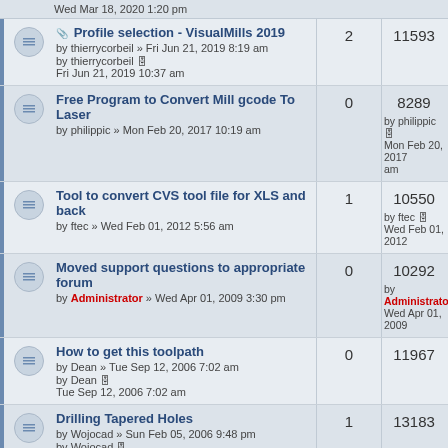Wed Mar 18, 2020 1:20 pm
Profile selection - VisualMills 2019 by thierrycorbeil » Fri Jun 21, 2019 8:19 am | 2 replies | 11593 views | by thierrycorbeil Fri Jun 21, 2019 10:37 am
Free Program to Convert Mill gcode To Laser by philippic » Mon Feb 20, 2017 10:19 am | 0 replies | 8289 views | by philippic Mon Feb 20, 2017 am
Tool to convert CVS tool file for XLS and back by ftec » Wed Feb 01, 2012 5:56 am | 1 reply | 10550 views | by ftec Wed Feb 01, 2012
Moved support questions to appropriate forum by Administrator » Wed Apr 01, 2009 3:30 pm | 0 replies | 10292 views | by Administrator Wed Apr 01, 2009
How to get this toolpath by Dean » Tue Sep 12, 2006 7:02 am | 0 replies | 11967 views | by Dean Tue Sep 12, 2006 7:02 am
Drilling Tapered Holes by Wojocad » Sun Feb 05, 2006 9:48 pm | 1 reply | 13183 views | by Wojocad